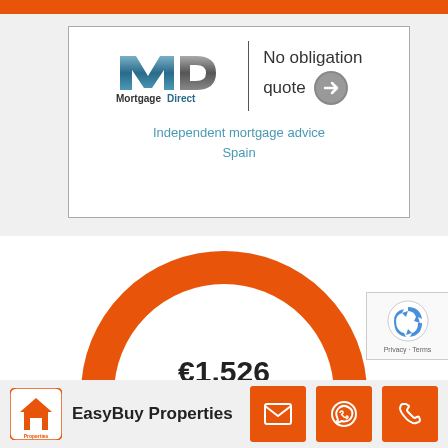[Figure (logo): Mortgage Direct advertisement banner with MD logo, 'No obligation quote' text with arrow, and 'Independent mortgage advice Spain' subtitle]
[Figure (other): Semicircular gauge/donut chart showing €1,526 mortgage value in orange]
[Figure (logo): reCAPTCHA badge with Privacy and Terms links]
[Figure (logo): EasyBuy Properties logo and brand name with email, WhatsApp, and phone contact buttons at bottom]